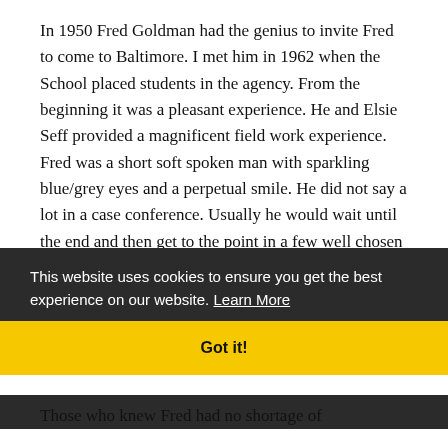In 1950 Fred Goldman had the genius to invite Fred to come to Baltimore. I met him in 1962 when the School placed students in the agency. From the beginning it was a pleasant experience. He and Elsie Seff provided a magnificent field work experience. Fred was a short soft spoken man with sparkling blue/grey eyes and a perpetual smile. He did not say a lot in a case conference. Usually he would wait until the end and then get to the point in a few well chosen words. He was clear that when I worked part-time at the agency that my School role was totally separate
This website uses cookies to ensure you get the best experience on our website. Learn More
Got it!
Those who knew Fred had no shortage of